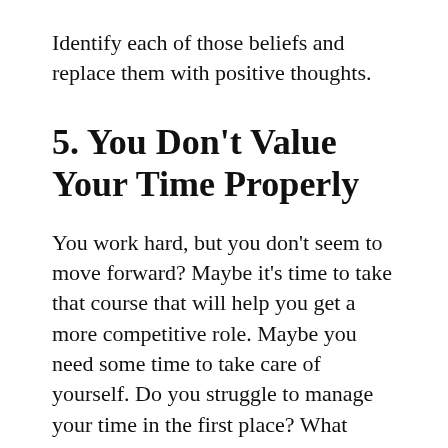Identify each of those beliefs and replace them with positive thoughts.
5. You Don’t Value Your Time Properly
You work hard, but you don’t seem to move forward? Maybe it’s time to take that course that will help you get a more competitive role. Maybe you need some time to take care of yourself. Do you struggle to manage your time in the first place? What about getting up earlier? Or watching less TV? Success takes effort and time. However, it’s up to you to balance and make the most out of your time